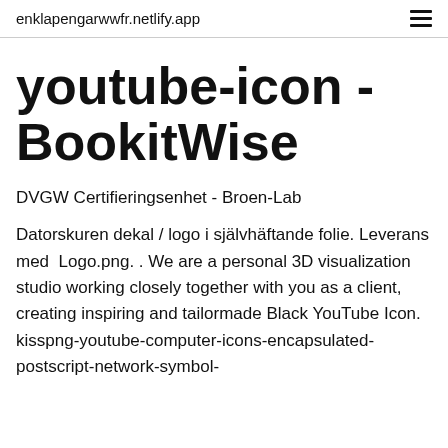enklapengarwwfr.netlify.app
youtube-icon - BookitWise
DVGW Certifieringsenhet - Broen-Lab
Datorskuren dekal / logo i självhäftande folie. Leverans med  Logo.png. . We are a personal 3D visualization studio working closely together with you as a client, creating inspiring and tailormade Black YouTube Icon. kisspng-youtube-computer-icons-encapsulated-postscript-network-symbol-